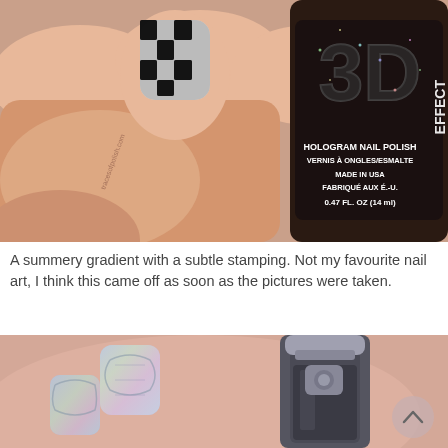[Figure (photo): Close-up photo of hand with black and white checkered nail art, holding a bottle of Sally Hansen 3D Hologram Nail Polish / Vernis à Ongles / Esmalte, Made in USA, Fabriqué aux É.-U., 0.47 FL. OZ (14 ml). Website tracesofpolish.com visible.]
A summery gradient with a subtle stamping. Not my favourite nail art, I think this came off as soon as the pictures were taken.
[Figure (photo): Close-up photo of hand with holographic/iridescent nail art with stamping pattern, next to a dark nail polish bottle. Scroll-up button visible in bottom right corner.]